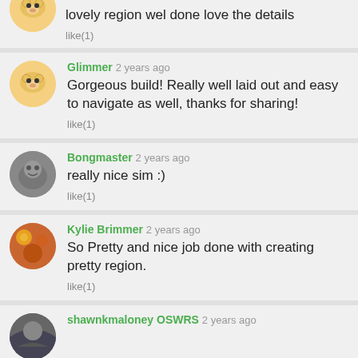lovely region wel done love the details
like(1)
Glimmer 2 years ago
Gorgeous build! Really well laid out and easy to navigate as well, thanks for sharing!
like(1)
Bongmaster 2 years ago
really nice sim :)
like(1)
Kylie Brimmer 2 years ago
So Pretty and nice job done with creating pretty region.
like(1)
shawnkmaloney OSWRS 2 years ago